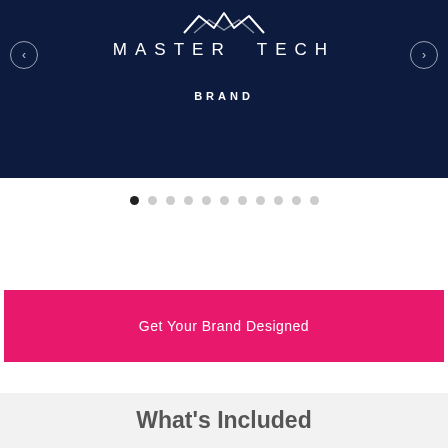[Figure (logo): Master Tech logo on dark navy background with stylized car/tech icon above text. Navigation arrows on left and right sides. 'BRAND' label below logo text.]
[Figure (infographic): Carousel dot navigation indicators: 11 dots, first one filled dark, rest light gray.]
Get Your Brand Designed
What's Included